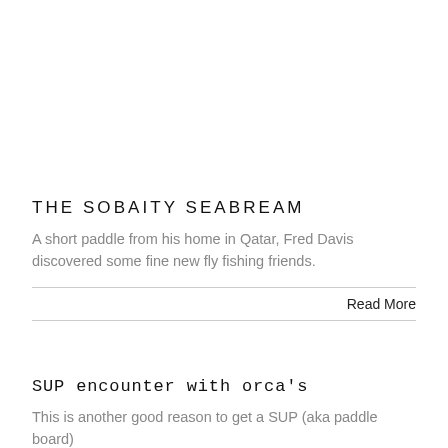THE SOBAITY SEABREAM
A short paddle from his home in Qatar, Fred Davis discovered some fine new fly fishing friends.
Read More
SUP encounter with orca's
This is another good reason to get a SUP (aka paddle board)